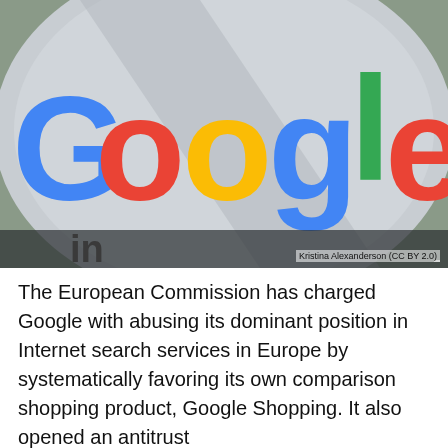[Figure (photo): Close-up photo of a Google logo sign with colorful 3D letters (blue, red, yellow, green, blue, red) on a metallic spherical surface, with trees visible in the background.]
Kristina Alexanderson (CC BY 2.0)
The European Commission has charged Google with abusing its dominant position in Internet search services in Europe by systematically favoring its own comparison shopping product, Google Shopping. It also opened an antitrust